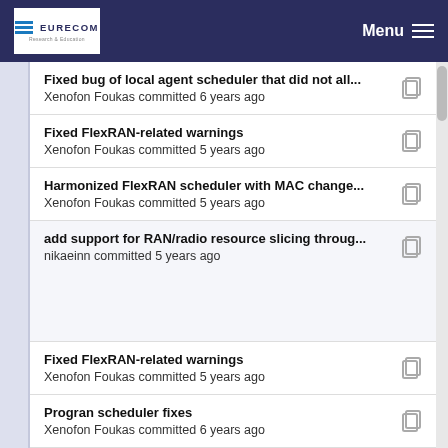EURECOM Menu
Fixed bug of local agent scheduler that did not all... | Xenofon Foukas committed 6 years ago
Fixed FlexRAN-related warnings | Xenofon Foukas committed 5 years ago
Harmonized FlexRAN scheduler with MAC change... | Xenofon Foukas committed 5 years ago
add support for RAN/radio resource slicing throug... | nikaeinn committed 5 years ago
Fixed FlexRAN-related warnings | Xenofon Foukas committed 5 years ago
Progran scheduler fixes | Xenofon Foukas committed 6 years ago